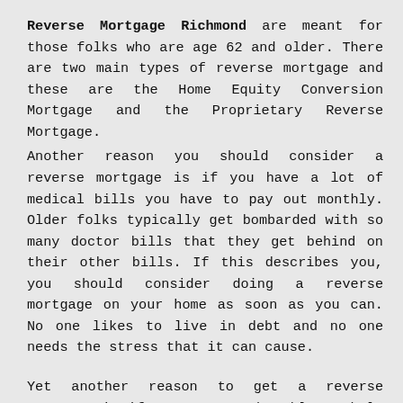Reverse Mortgage Richmond are meant for those folks who are age 62 and older. There are two main types of reverse mortgage and these are the Home Equity Conversion Mortgage and the Proprietary Reverse Mortgage.
Another reason you should consider a reverse mortgage is if you have a lot of medical bills you have to pay out monthly. Older folks typically get bombarded with so many doctor bills that they get behind on their other bills. If this describes you, you should consider doing a reverse mortgage on your home as soon as you can. No one likes to live in debt and no one needs the stress that it can cause.
Yet another reason to get a reverse mortgage is if you want to be able to help a financially struggling child of yours to get through life more easily. You need to realize that once